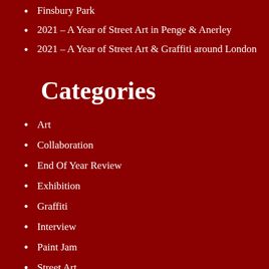Finsbury Park
2021 – A Year of Street Art in Penge & Anerley
2021 – A Year of Street Art & Graffiti around London
Categories
Art
Collaboration
End Of Year Review
Exhibition
Graffiti
Interview
Paint Jam
Street Art
Street Art Walk